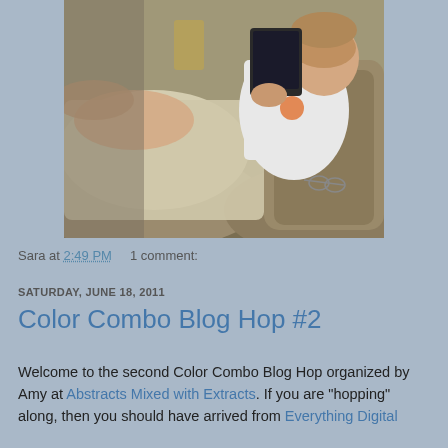[Figure (photo): A man in a white t-shirt and shorts reclining on a brown couch, holding a tablet device, with glasses resting on the couch cushion beside him.]
Sara at 2:49 PM    1 comment:
SATURDAY, JUNE 18, 2011
Color Combo Blog Hop #2
Welcome to the second Color Combo Blog Hop organized by Amy at Abstracts Mixed with Extracts. If you are "hopping" along, then you should have arrived from Everything Digital